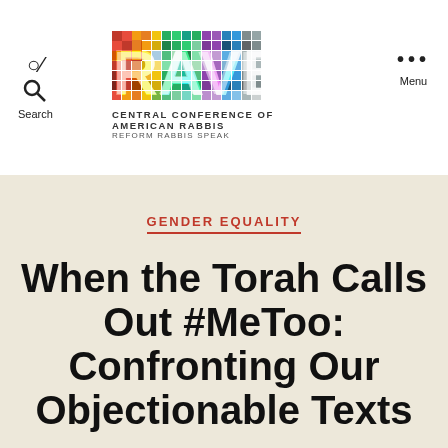RAVBLOG — CENTRAL CONFERENCE OF AMERICAN RABBIS — REFORM RABBIS SPEAK
GENDER EQUALITY
When the Torah Calls Out #MeToo: Confronting Our Objectionable Texts